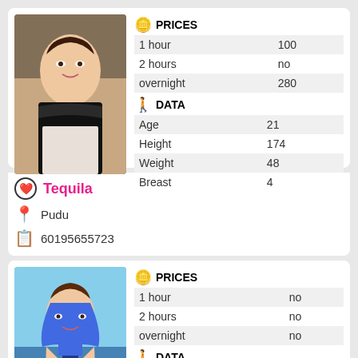[Figure (photo): Photo of a young woman with sunglasses on head, wearing black top, selfie style]
|  | PRICES |
| --- | --- |
| 1 hour | 100 |
| 2 hours | no |
| overnight | 280 |
|  | DATA |
| --- | --- |
| Age | 21 |
| Height | 174 |
| Weight | 48 |
| Breast | 4 |
Tequila
Pudu
60195655723
[Figure (photo): Photo of a young woman in blue bikini near a pool]
|  | PRICES |
| --- | --- |
| 1 hour | no |
| 2 hours | no |
| overnight | no |
|  | DATA |
| --- | --- |
| Age | 18 |
| Height | 174 |
| Weight | 54 |